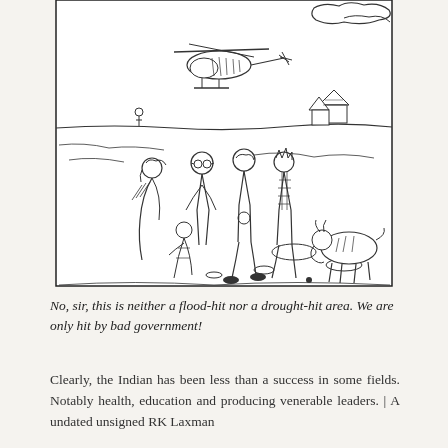[Figure (illustration): A black-and-white cartoon/illustration by RK Laxman showing a rural scene. A helicopter flies in the background over barren, cracked land with a small hut. In the foreground, a group of officials/visitors walk through the area accompanied by a local villager (elderly woman). A goat grazes on the right. The overall scene depicts poverty and neglect.]
No, sir, this is neither a flood-hit nor a drought-hit area. We are only hit by bad government!
Clearly, the Indian has been less than a success in some fields. Notably health, education and producing venerable leaders. | A undated unsigned RK Laxman